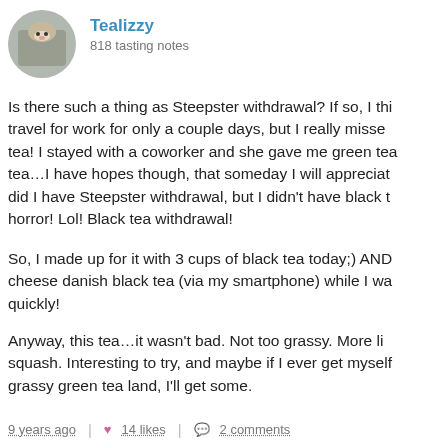[Figure (photo): Circular avatar photo of a cat in a box, profile picture for user Tealizzy]
Tealizzy
818 tasting notes
Is there such a thing as Steepster withdrawal? If so, I thi... travel for work for only a couple days, but I really missed tea! I stayed with a coworker and she gave me green tea... tea…I have hopes though, that someday I will appreciat... did I have Steepster withdrawal, but I didn't have black t... horror! Lol! Black tea withdrawal!
So, I made up for it with 3 cups of black tea today;) AND cheese danish black tea (via my smartphone) while I wa... quickly!
Anyway, this tea…it wasn't bad. Not too grassy. More li... squash. Interesting to try, and maybe if I ever get myself grassy green tea land, I'll get some.
9 years ago | 14 likes | 2 comments